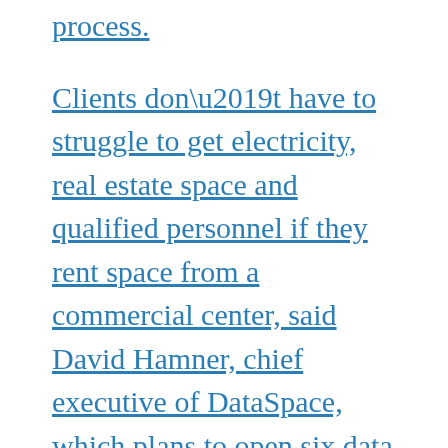process.
Clients don’t have to struggle to get electricity, real estate space and qualified personnel if they rent space from a commercial center, said David Hamner, chief executive of DataSpace, which plans to open six data centers in Moscow.
Renting space is also more economically viable for smaller operations, said Owen Kemp, chairman of the advisory board